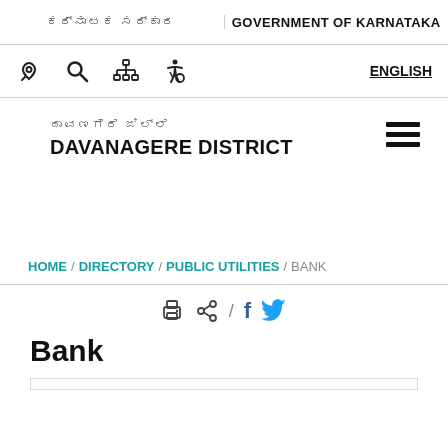ಕರ್ನಾಟಕ ಸರ್ಕಾರ  GOVERNMENT OF KARNATAKA
[Figure (screenshot): Navigation bar with home, search, sitemap, accessibility, and ENGLISH language icons]
ದಾವಣಗೆರೆ ಜಿಲ್ಲೆ DAVANAGERE DISTRICT
HOME / DIRECTORY / PUBLIC UTILITIES / BANK
[Figure (infographic): Share bar with print, share, slash, Facebook and Twitter icons]
Bank